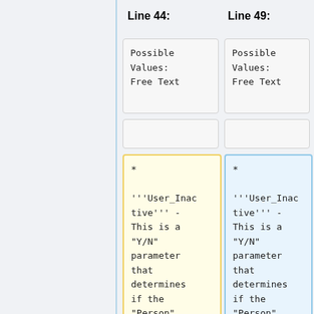Line 44:
Line 49:
Possible Values:
Free Text
Possible Values:
Free Text
* '''User_Inactive''' - This is a "Y/N" parameter that determines if the "Person" Entry is active or not.  If set
* '''User_Inactive''' - This is a "Y/N" parameter that determines if the "Person" Entry is active or not.  If set